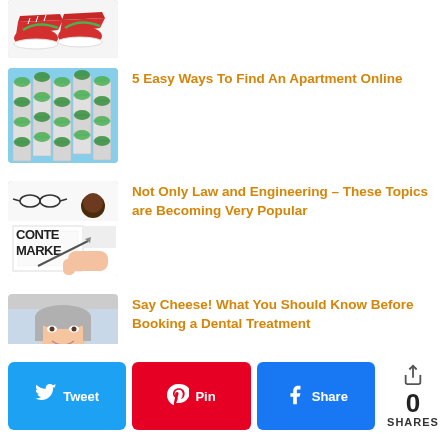[Figure (photo): Red and green Nike sneakers on white background - partially visible at top]
[Figure (photo): Green vertical garden building with terraced balconies covered in plants against blue sky]
5 Easy Ways To Find An Apartment Online
[Figure (photo): Content Marketing sign with glasses and coffee cup on desk]
Not Only Law and Engineering – These Topics are Becoming Very Popular
[Figure (photo): Woman portrait photo - dental treatment article thumbnail]
Say Cheese! What You Should Know Before Booking a Dental Treatment
0 SHARES